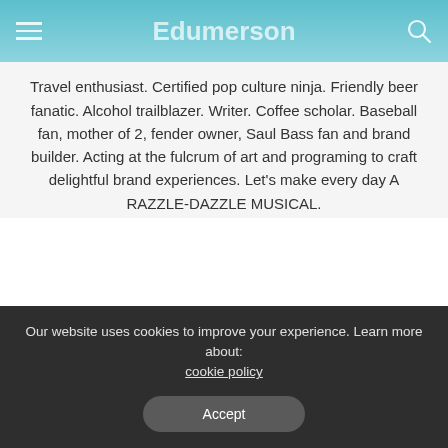Edumerson
Travel enthusiast. Certified pop culture ninja. Friendly beer fanatic. Alcohol trailblazer. Writer. Coffee scholar. Baseball fan, mother of 2, fender owner, Saul Bass fan and brand builder. Acting at the fulcrum of art and programing to craft delightful brand experiences. Let's make every day A RAZZLE-DAZZLE MUSICAL.
PREVIOUS ARTICLE — Start your Early Childhood Education Degree Today!
NEXT ARTICLE — Anti-Semitism 'toxic to democracy', UN professional warns, calling for higher training
Our website uses cookies to improve your experience. Learn more about: cookie policy
Accept